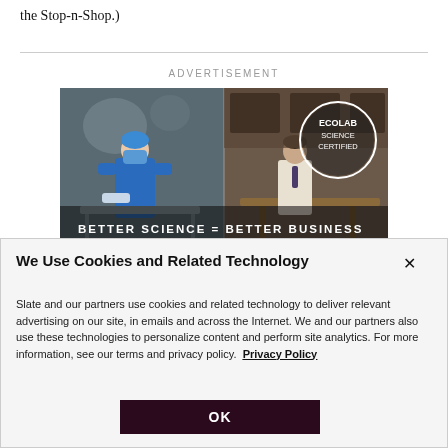the Stop-n-Shop.)
ADVERTISEMENT
[Figure (photo): Ecolab Science Certified advertisement showing a healthcare worker in blue scrubs and mask cleaning a surface on the left side, and a hotel/office worker in business attire on the right side. White text overlay reads: BETTER SCIENCE = BETTER BUSINESS. Ecolab Science Certified logo appears as a circular badge in the upper right.]
We Use Cookies and Related Technology
Slate and our partners use cookies and related technology to deliver relevant advertising on our site, in emails and across the Internet. We and our partners also use these technologies to personalize content and perform site analytics. For more information, see our terms and privacy policy.  Privacy Policy
OK